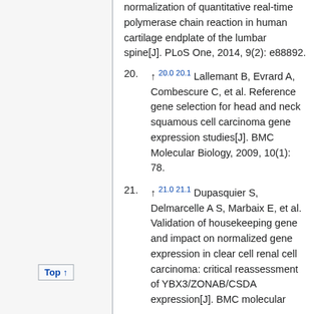normalization of quantitative real-time polymerase chain reaction in human cartilage endplate of the lumbar spine[J]. PLoS One, 2014, 9(2): e88892.
20. ↑ 20.0 20.1 Lallemant B, Evrard A, Combescure C, et al. Reference gene selection for head and neck squamous cell carcinoma gene expression studies[J]. BMC Molecular Biology, 2009, 10(1): 78.
21. ↑ 21.0 21.1 Dupasquier S, Delmarcelle A S, Marbaix E, et al. Validation of housekeeping gene and impact on normalized gene expression in clear cell renal cell carcinoma: critical reassessment of YBX3/ZONAB/CSDA expression[J]. BMC molecular